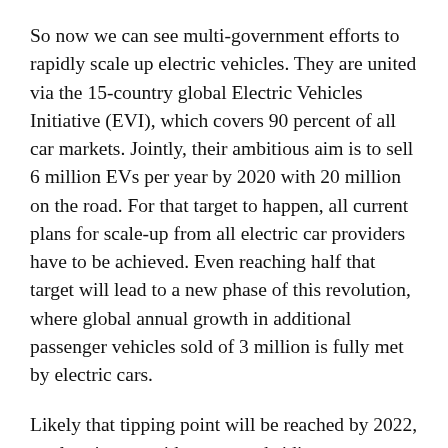So now we can see multi-government efforts to rapidly scale up electric vehicles. They are united via the 15-country global Electric Vehicles Initiative (EVI), which covers 90 percent of all car markets. Jointly, their ambitious aim is to sell 6 million EVs per year by 2020 with 20 million on the road. For that target to happen, all current plans for scale-up from all electric car providers have to be achieved. Even reaching half that target will lead to a new phase of this revolution, where global annual growth in additional passenger vehicles sold of 3 million is fully met by electric cars.
Likely that tipping point will be reached by 2022, as electric cars without any subsidies or tax credits will then cost the same as equivalent internal combustion cars, according to Bloomberg New Energy Finance. Electric cars then win out financially on cost savings. The key to this will be the launch of models that boast both range and low cost, as mass-market all-electric cars need at least a 200-mile range and a price far below $50,000. Today, the soon-to-be-sold GM